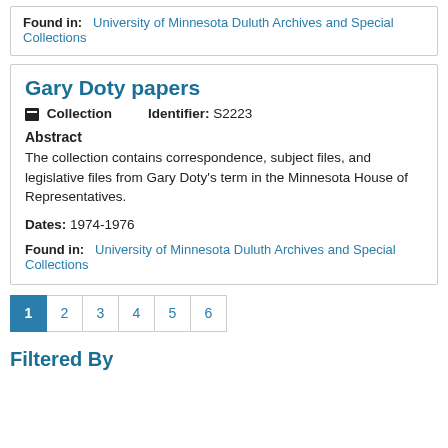Found in: University of Minnesota Duluth Archives and Special Collections
Gary Doty papers
Collection   Identifier: S2223
Abstract
The collection contains correspondence, subject files, and legislative files from Gary Doty's term in the Minnesota House of Representatives.
Dates: 1974-1976
Found in: University of Minnesota Duluth Archives and Special Collections
1 2 3 4 5 6
Filtered By